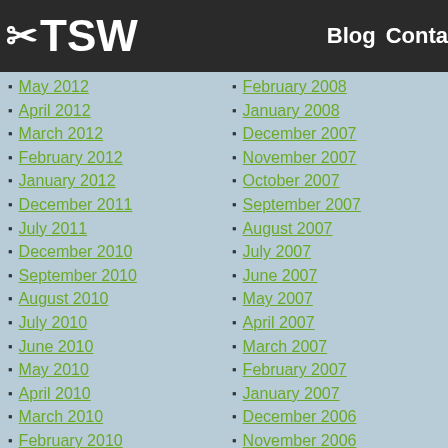TSW — Blog  Conta
May 2012
April 2012
March 2012
February 2012
January 2012
December 2011
July 2011
December 2010
September 2010
August 2010
July 2010
June 2010
May 2010
April 2010
March 2010
February 2010
December 2009
February 2008
January 2008
December 2007
November 2007
October 2007
September 2007
August 2007
July 2007
June 2007
May 2007
April 2007
March 2007
February 2007
January 2007
December 2006
November 2006
October 2006